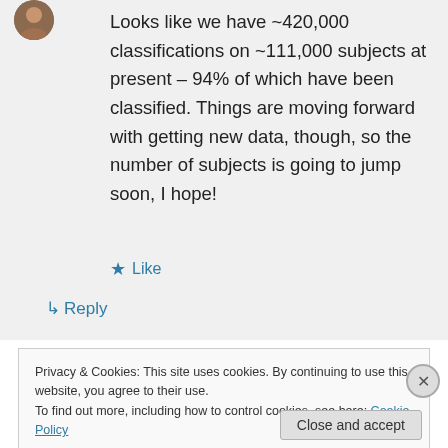Looks like we have ~420,000 classifications on ~111,000 subjects at present – 94% of which have been classified. Things are moving forward with getting new data, though, so the number of subjects is going to jump soon, I hope!
★ Like
↳ Reply
Privacy & Cookies: This site uses cookies. By continuing to use this website, you agree to their use.
To find out more, including how to control cookies, see here: Cookie Policy
Close and accept